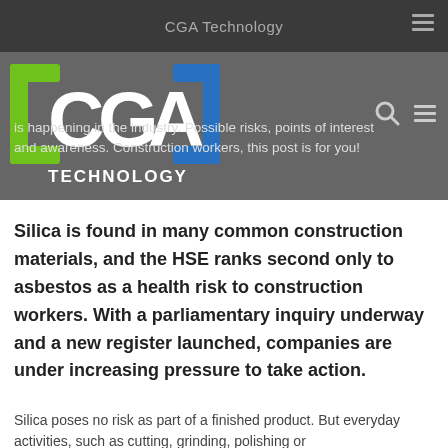CGA Technology
[Figure (logo): CGA Technology logo with stylized bracket and letter shapes in green, white, and blue, with 'TECHNOLOGY' text below]
is happening in the industry. Possible risks, points of interest and awareness. Construction workers, this post is for you!
Silica is found in many common construction materials, and the HSE ranks second only to asbestos as a health risk to construction workers. With a parliamentary inquiry underway and a new register launched, companies are under increasing pressure to take action.
Silica poses no risk as part of a finished product. But everyday activities, such as cutting, grinding, polishing or